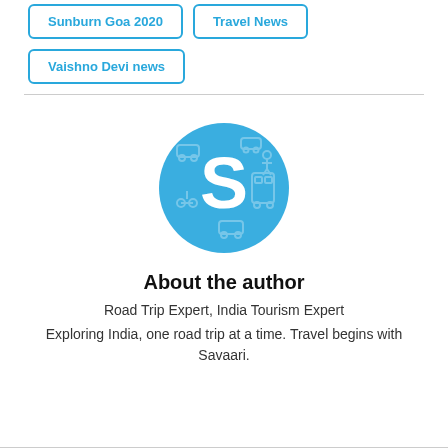Sunburn Goa 2020
Travel News
Vaishno Devi news
[Figure (logo): Circular blue logo with white letter S and car/travel icons in the background]
About the author
Road Trip Expert, India Tourism Expert
Exploring India, one road trip at a time. Travel begins with Savaari.